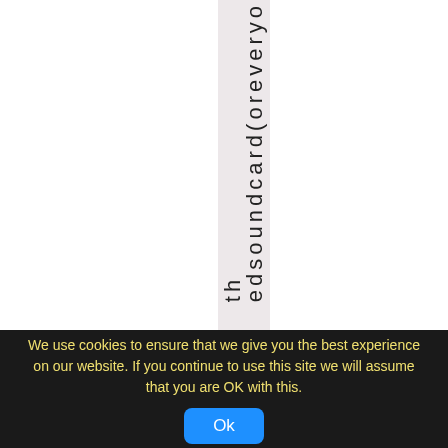[Figure (screenshot): A webpage screenshot showing vertical text 'edsoundcard(oreveryo th' in a highlighted pink/rose strip in the center of a white background, partially cut off at the bottom.]
We use cookies to ensure that we give you the best experience on our website. If you continue to use this site we will assume that you are OK with this.